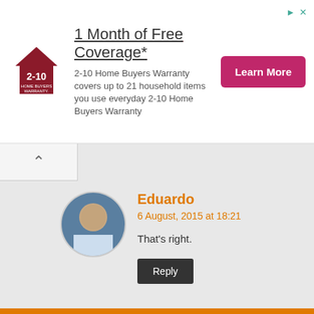[Figure (infographic): 2-10 Home Buyers Warranty advertisement banner with logo, headline '1 Month of Free Coverage*', descriptive text, and a 'Learn More' button]
Eduardo
6 August, 2015 at 18:21
That's right.
Reply
elsellodesalomon .
6 August, 2015 at 19:11
The Mio fuse lasts for 10 hours continuously, the Fitbil Charge HR lasts for 6 days and measures the heart rate quite decently in a continuous manner.